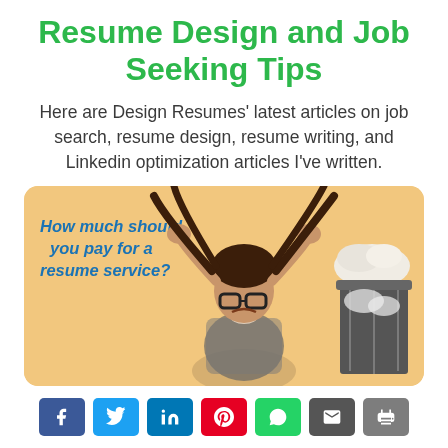Resume Design and Job Seeking Tips
Here are Design Resumes' latest articles on job search, resume design, resume writing, and Linkedin optimization articles I've written.
[Figure (infographic): Promotional infographic with tan/beige background showing a frustrated woman pulling her hair, a trash bin overflowing with crumpled paper, and text reading 'How much should you pay for a resume service?']
Social share buttons: Facebook, Twitter, LinkedIn, Pinterest, WhatsApp, Email, Print